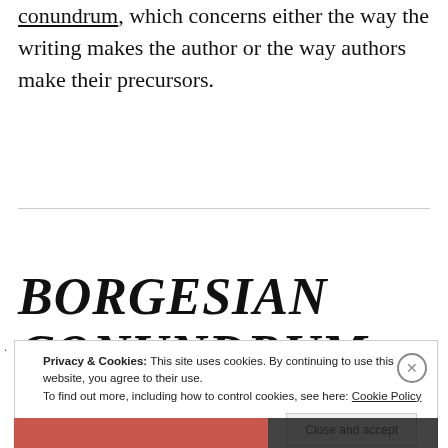conundrum, which concerns either the way the writing makes the author or the way authors make their precursors.
BORGESIAN CONUNDRUM
Privacy & Cookies: This site uses cookies. By continuing to use this website, you agree to their use. To find out more, including how to control cookies, see here: Cookie Policy Close and accept